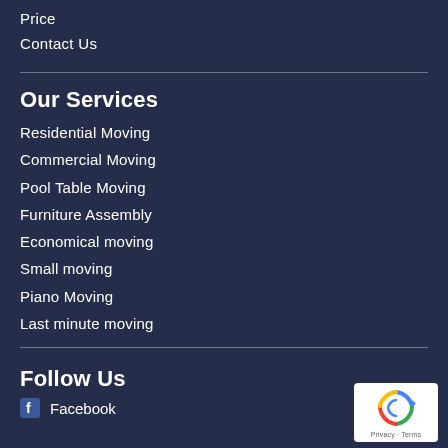Price
Contact Us
Our Services
Residential Moving
Commercial Moving
Pool Table Moving
Furniture Assembly
Economical moving
Small moving
Piano Moving
Last minute moving
Follow Us
Facebook
[Figure (logo): reCAPTCHA badge with recycling arrow icon and Privacy - Terms text]